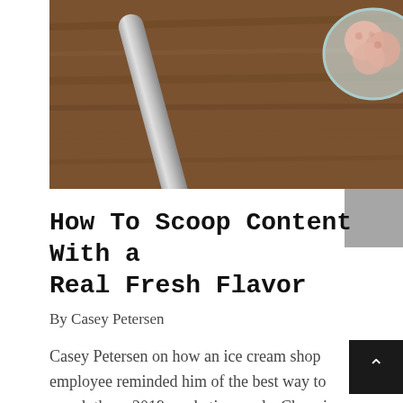[Figure (photo): Photo of an ice cream scoop tool on a wooden surface with a glass bowl of ice cream in the top right corner]
How To Scoop Content With a Real Fresh Flavor
By Casey Petersen
Casey Petersen on how an ice cream shop employee reminded him of the best way to smash those 2019 marketing goals. Changing your attitude to employee generated content.